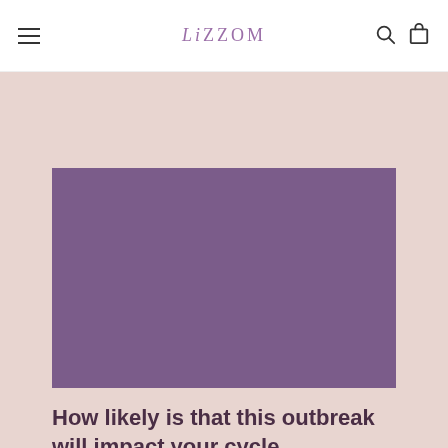LiZZOM
[Figure (illustration): Solid purple/mauve colored rectangular image block placeholder]
How likely is that this outbreak will impact your cycle